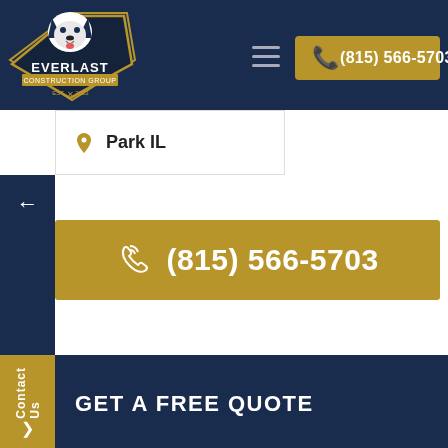[Figure (logo): Everlast Construction Group logo - husky dog mascot in navy shield with gold text]
(815) 566-5703
Park IL
(815) 566-5703
Contact Us
GET A FREE QUOTE